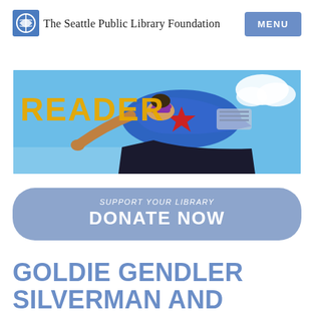The Seattle Public Library Foundation
[Figure (photo): A child dressed as a superhero in a blue cape with a red star, wearing a mask, posed as if flying, against a blue sky background with clouds. The word READER is written in large yellow letters on the left side of the banner.]
SUPPORT YOUR LIBRARY
DONATE NOW
GOLDIE GENDLER SILVERMAN AND